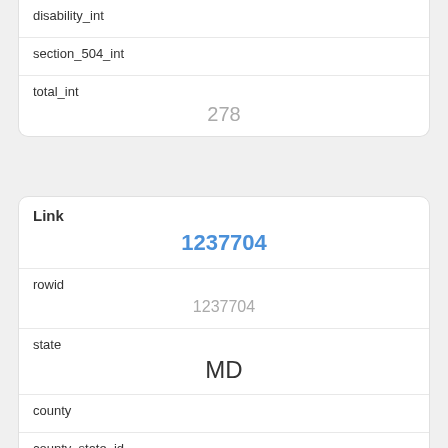| disability_int |  |
| section_504_int |  |
| total_int | 278 |
| Link | 1237704 |
| --- | --- |
| rowid | 1237704 |
| state | MD |
| county |  |
| county_state_id |  |
| admin_level | school |